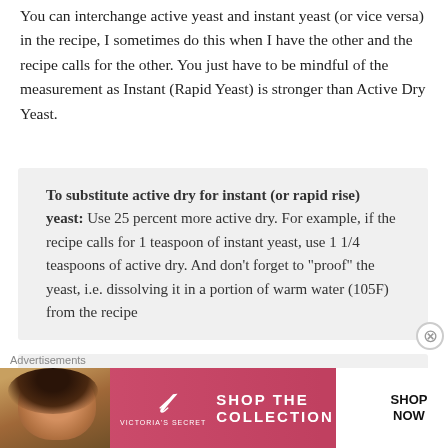You can interchange active yeast and instant yeast (or vice versa) in the recipe, I sometimes do this when I have the other and the recipe calls for the other. You just have to be mindful of the measurement as Instant (Rapid Yeast) is stronger than Active Dry Yeast.
To substitute active dry for instant (or rapid rise) yeast: Use 25 percent more active dry. For example, if the recipe calls for 1 teaspoon of instant yeast, use 1 1/4 teaspoons of active dry. And don't forget to "proof" the yeast, i.e. dissolving it in a portion of warm water (105F) from the recipe
To substitute instant (or rapid rise) yeast for active dry:
[Figure (other): Victoria's Secret advertisement banner with model photo, VS logo, 'SHOP THE COLLECTION' text, and 'SHOP NOW' button]